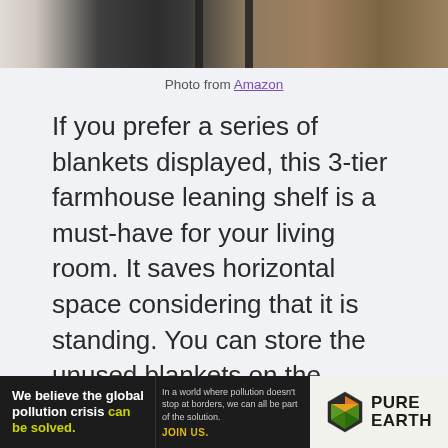[Figure (photo): Partial view of a farmhouse leaning shelf with dark metal frame on wooden floor background]
Photo from Amazon
If you prefer a series of blankets displayed, this 3-tier farmhouse leaning shelf is a must-have for your living room. It saves horizontal space considering that it is standing. You can store the unused blankets on the bottom bag and hang the ones you have used. This is a gem from Amazon that will answer your problems with blanket storage. Besides, it can be a challenge, especially if you have limited space. In terms of design, this leaning shelf will best suit rustic, minimalist, modern, farmhouse, and even bohemian vibes.
[Figure (infographic): Pure Earth advertisement banner: 'We believe the global pollution crisis can be solved. In a world where pollution doesn't stop at borders, we can all be part of the solution. JOIN US.' with Pure Earth diamond logo]